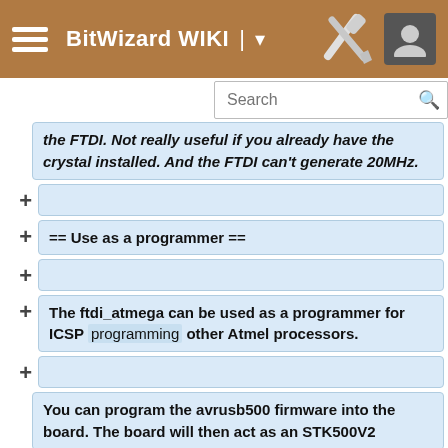BitWizard WIKI
the FTDI. Not really useful if you already have the crystal installed. And the FTDI can't generate 20MHz.
(empty diff row)
== Use as a programmer ==
(empty diff row)
The ftdi_atmega can be used as a programmer for ICSP programming other Atmel processors.
(empty diff row)
You can program the avrusb500 firmware into the board. The board will then act as an STK500V2